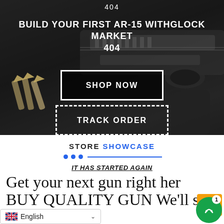[Figure (screenshot): Dark hero banner with gun/weapons background image showing AR-15 and ammunition]
404
BUILD YOUR FIRST AR-15 WITHGLOCK MARKET 404
SHOP NOW
TRACK ORDER
STORE SHOWCASE
IT HAS STARTED AGAIN
Get your next gun right here BUY QUALITY GUN We'll sl... oor steps. Our